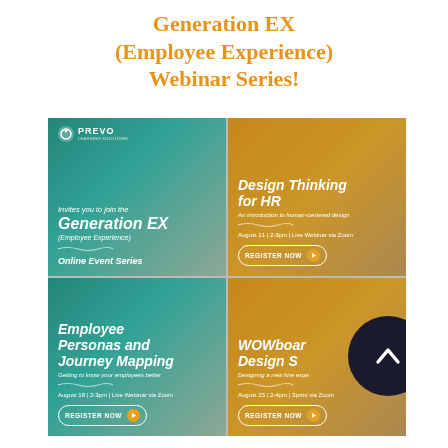Generation EX (Employee Experience) Webinar Series!
[Figure (infographic): 2x2 grid of webinar promotional panels for the Generation EX Online Event Series by Prevo. Top-left (teal): Prevo logo, 'Invites you to join the Generation EX (Employee Experience) Online Event Series'. Top-right (amber): 'Design Thinking for HR – An introduction to human-centered design – August 11 | 2-3pm | Live Webinar via Zoom – REGISTER NOW button'. Bottom-left (teal): 'Employee Personas and Journey Mapping – Getting to know your employees better – August 18 | 2-3pm | Live Webinar via Zoom – REGISTER NOW button'. Bottom-right (amber): 'WOWboard Design Sprint – Designing a new hire experience – August 25 | 2-4pm | Sprint via Zoom – REGISTER NOW button' (partially obscured by dark circle with chevron).]